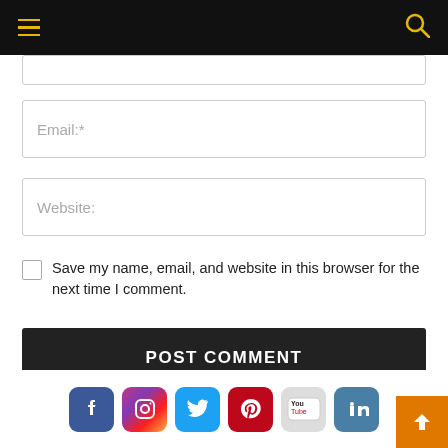Navigation bar with hamburger menu and search icon
Email:*
Website:
Save my name, email, and website in this browser for the next time I comment.
POST COMMENT
[Figure (screenshot): Social media icons: Facebook, Instagram, Twitter, Pinterest, YouTube, LinkedIn. Orange back-to-top button in bottom right.]